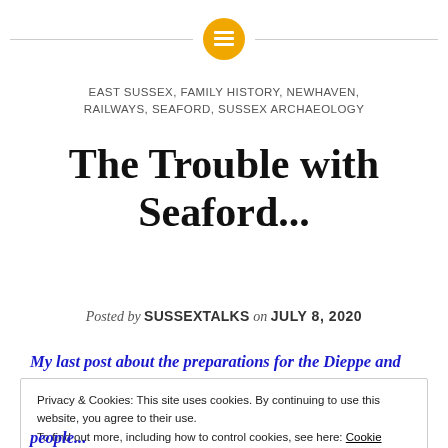EAST SUSSEX, FAMILY HISTORY, NEWHAVEN, RAILWAYS, SEAFORD, SUSSEX ARCHAEOLOGY
The Trouble with Seaford...
Posted by SUSSEXTALKS on JULY 8, 2020
My last post about the preparations for the Dieppe and
Privacy & Cookies: This site uses cookies. By continuing to use this website, you agree to their use. To find out more, including how to control cookies, see here: Cookie Policy
Close and accept
people...